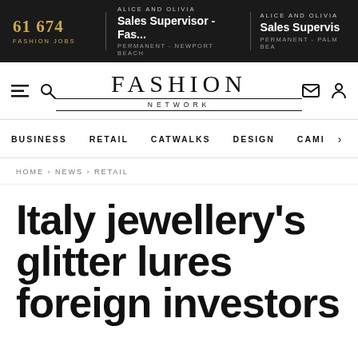61 674 FASHION JOBS | ALICE AND OLIVIA Sales Supervisor - Fas... PERMANENT - NEWPORT BEACH | ALICE AND OLIVIA Sales Supervisor PERMANENT - PALM BEACH
[Figure (logo): Fashion Network logo with navigation icons (hamburger menu, search, envelope, user account)]
BUSINESS | RETAIL | CATWALKS | DESIGN | CAMI >
HOME › NEWS › RETAIL
Italy jewellery's glitter lures foreign investors